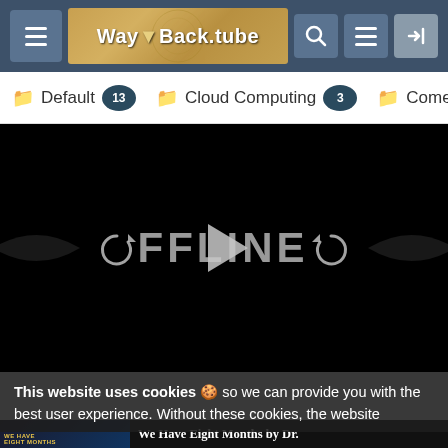WayBacktube — hamburger menu, logo, search, menu, login buttons
Default 13
Cloud Computing 3
Comedy 43
[Figure (screenshot): Video player showing OFFLINE screen with play/replay controls on black background]
This website uses cookies 🍪 so we can provide you with the best user experience. Without these cookies, the website simply wouldn't work.
We Have Eight Months by Dr.